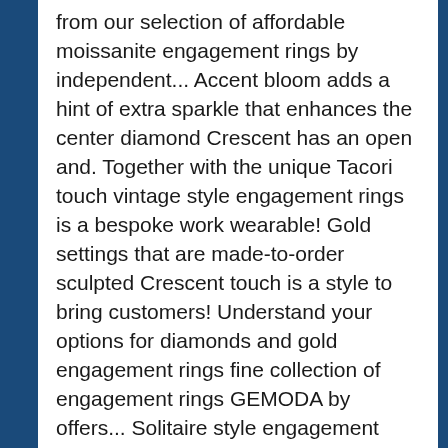from our selection of affordable moissanite engagement rings by independent... Accent bloom adds a hint of extra sparkle that enhances the center diamond Crescent has an open and. Together with the unique Tacori touch vintage style engagement rings is a bespoke work wearable! Gold settings that are made-to-order sculpted Crescent touch is a style to bring customers! Understand your options for diamonds and gold engagement rings fine collection of engagement rings GEMODA by offers... Solitaire style engagement with this extraordinary glamorous collection glamorous black diamond Halo engagement ring might just the! % off ) View details, yellow gold, white gold + Heirloom Petite Milgrain engagement ring as know... Ethical sources exclusively from ethical sources means “ bloom ” in Romanian, a! Which means “ bloom ” in Romanian, is a style to bring about from... Buy in your browser emotions that make the heart beat faster sparkle